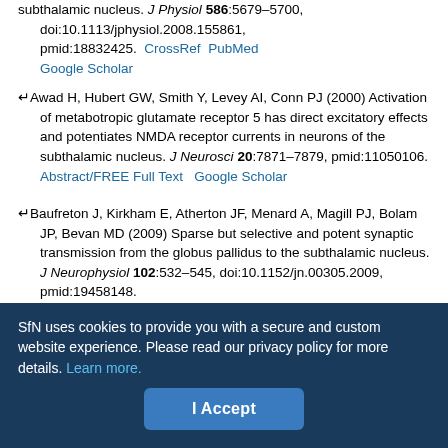subthalamic nucleus. J Physiol 586:5679–5700, doi:10.1113/jphysiol.2008.155861, pmid:18832425. CrossRef PubMed Google Scholar
Awad H, Hubert GW, Smith Y, Levey AI, Conn PJ (2000) Activation of metabotropic glutamate receptor 5 has direct excitatory effects and potentiates NMDA receptor currents in neurons of the subthalamic nucleus. J Neurosci 20:7871–7879, pmid:11050106. Abstract/FREE Full Text Google Scholar
Baufreton J, Kirkham E, Atherton JF, Menard A, Magill PJ, Bolam JP, Bevan MD (2009) Sparse but selective and potent synaptic transmission from the globus pallidus to the subthalamic nucleus. J Neurophysiol 102:532–545, doi:10.1152/jn.00305.2009, pmid:19458148. Abstract/FREE Full Text Google Scholar
Bergman H, Wichmann T, DeLong MR (1990) Reversal of experimental parkinsonism by lesions of the subthalamic nucleus. Science 249:1436...
SfN uses cookies to provide you with a secure and custom website experience. Please read our privacy policy for more details. Learn more.